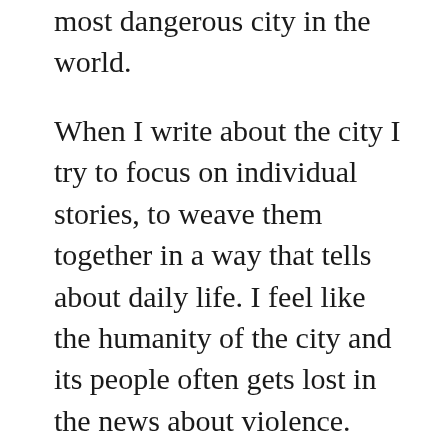most dangerous city in the world.
When I write about the city I try to focus on individual stories, to weave them together in a way that tells about daily life. I feel like the humanity of the city and its people often gets lost in the news about violence.